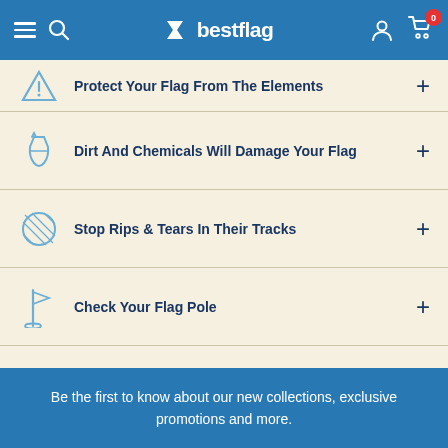bestflag
Protect Your Flag From The Elements
Dirt And Chemicals Will Damage Your Flag
Stop Rips & Tears In Their Tracks
Check Your Flag Pole
Be the first to know about our new collections, exclusive promotions and more.